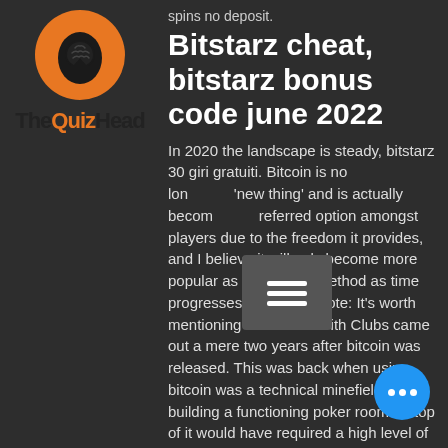[Figure (logo): Orange circle with brain/head silhouette icon - TheQuizHead logo]
spins no deposit.
Bitstarz cheat, bitstarz bonus code june 2022
In 2020 the landscape is steady, bitstarz 30 giri gratuiti. Bitcoin is no longer the 'new thing' and is actually become the preferred option amongst players due to the freedom it provides, and I believe it will only become more popular as a payment method as time progresses. Historical Note: It's worth mentioning that Seals With Clubs came out a mere two years after bitcoin was released. This was back when using bitcoin was a technical minefield, and building a functioning poker room on top of it would have required a high level of determination, skill, and belief. Just wanted to acknowledge their efforts and achievements. Note the lack of verifiably fair multi-player poker games doesn't mean anything, bitstarz 30